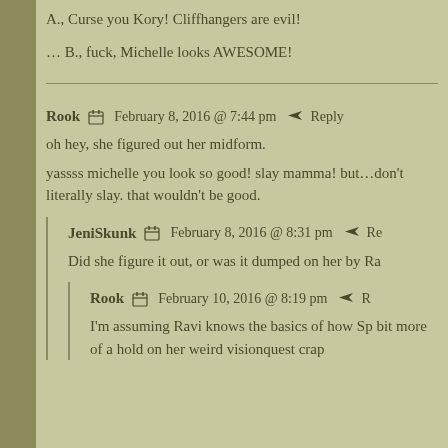A., Curse you Kory! Cliffhangers are evil!
… B., fuck, Michelle looks AWESOME!
Rook  February 8, 2016 @ 7:44 pm  Reply
oh hey, she figured out her midform.
yassss michelle you look so good! slay mamma! but…don't literally slay. that wouldn't be good.
JeniSkunk  February 8, 2016 @ 8:31 pm  Reply
Did she figure it out, or was it dumped on her by Ra
Rook  February 10, 2016 @ 8:19 pm  Reply
I'm assuming Ravi knows the basics of how Sp bit more of a hold on her weird visionquest crap